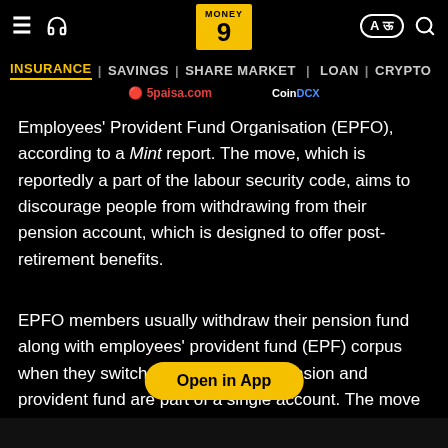Money9 — INSURANCE | SAVINGS | SHARE MARKET | LOAN | CRYPTO
Employees' Provident Fund Organisation (EPFO), according to a Mint report. The move, which is reportedly a part of the labour security code, aims to discourage people from withdrawing from their pension account, which is designed to offer post-retirement benefits.
EPFO members usually withdraw their pension fund along with employees' provident fund (EPF) corpus when they switch jobs, since both pension and provident fund are part of a single account. The move classify these contributions into two separate accounts is being labelled as a pension reform under the labour security